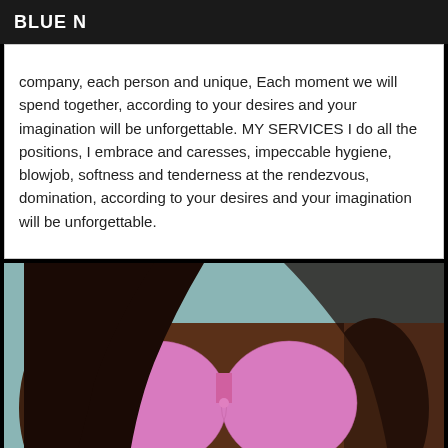BLUE N
company, each person and unique, Each moment we will spend together, according to your desires and your imagination will be unforgettable. MY SERVICES I do all the positions, I embrace and caresses, impeccable hygiene, blowjob, softness and tenderness at the rendezvous, domination, according to your desires and your imagination will be unforgettable.
[Figure (photo): A woman with dark hair wearing a pink lace bra, photographed from the neck down against a light teal wall and orange couch background.]